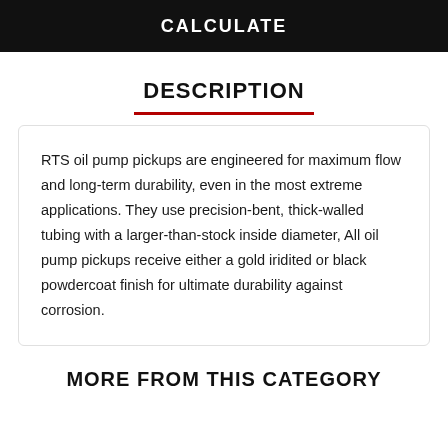CALCULATE
DESCRIPTION
RTS oil pump pickups are engineered for maximum flow and long-term durability, even in the most extreme applications. They use precision-bent, thick-walled tubing with a larger-than-stock inside diameter, All oil pump pickups receive either a gold iridited or black powdercoat finish for ultimate durability against corrosion.
MORE FROM THIS CATEGORY